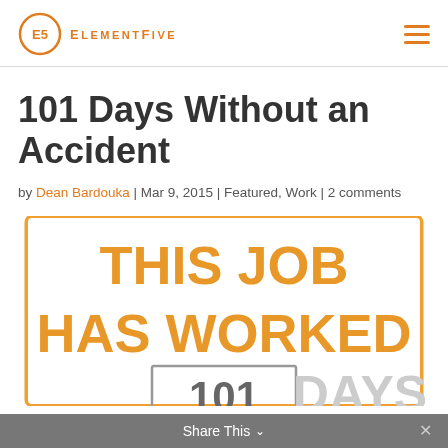[Figure (logo): ElementFive logo: orange circle with E5 inside, followed by ELEMENTFIVE text in orange uppercase letters]
101 Days Without an Accident
by Dean Bardouka | Mar 9, 2015 | Featured, Work | 2 comments
[Figure (infographic): Safety sign graphic: orange border on white background reading THIS JOB HAS WORKED with the number 101 in a grey box, followed by DAYS in large grey text]
Share This ∨  ✕